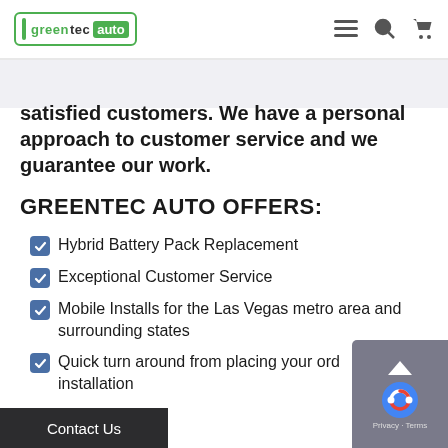greentec auto
satisfied customers. We have a personal approach to customer service and we guarantee our work.
GREENTEC AUTO OFFERS:
Hybrid Battery Pack Replacement
Exceptional Customer Service
Mobile Installs for the Las Vegas metro area and surrounding states
Quick turn around from placing your order to installation